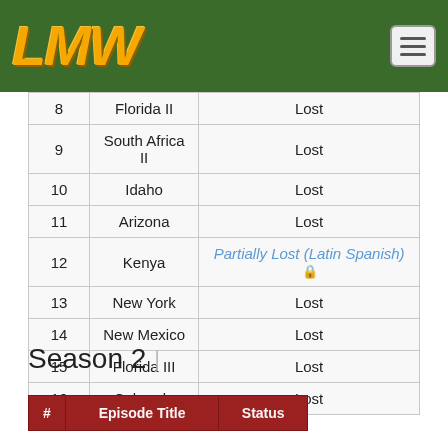LMW
| # | Episode Title | Status |
| --- | --- | --- |
| 8 | Florida II | Lost |
| 9 | South Africa II | Lost |
| 10 | Idaho | Lost |
| 11 | Arizona | Lost |
| 12 | Kenya | Partially Lost (Latin Spanish) 🔒 |
| 13 | New York | Lost |
| 14 | New Mexico | Lost |
| 15 | Florida III | Lost |
| 16 | Colorado | Lost |
Season 2
| # | Episode Title | Status |
| --- | --- | --- |